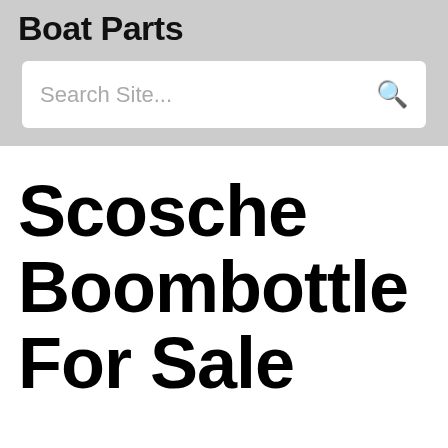Boat Parts
Search Site...
Scosche Boombottle For Sale